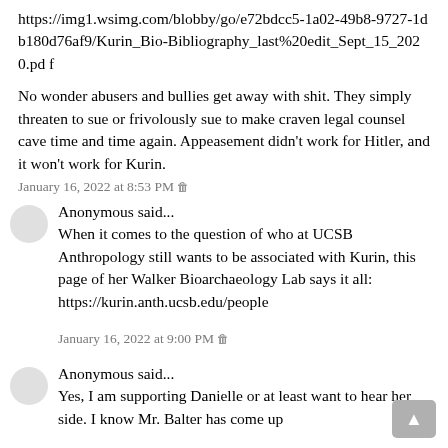https://img1.wsimg.com/blobby/go/e72bdcc5-1a02-49b8-9727-1db180d76af9/Kurin_Bio-Bibliography_last%20edit_Sept_15_2020.pdf
No wonder abusers and bullies get away with shit. They simply threaten to sue or frivolously sue to make craven legal counsel cave time and time again. Appeasement didn't work for Hitler, and it won't work for Kurin.
January 16, 2022 at 8:53 PM 🗑
Anonymous said...
When it comes to the question of who at UCSB Anthropology still wants to be associated with Kurin, this page of her Walker Bioarchaeology Lab says it all:
https://kurin.anth.ucsb.edu/people
January 16, 2022 at 9:00 PM 🗑
Anonymous said...
Yes, I am supporting Danielle or at least want to hear her side. I know Mr. Balter has come up